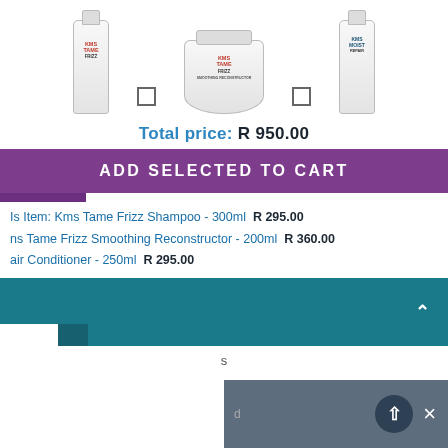[Figure (photo): Three KMS hair care product images at top: KMS Tame Frizz Shampoo bottle, KMS Tame Frizz Smoothing Reconstructor jar, and KMS Moist Repair conditioner bottle, with checkboxes between products.]
Total price: R 950.00
ADD SELECTED TO CART
Is Item: Kms Tame Frizz Shampoo - 300ml  R 295.00
ns Tame Frizz Smoothing Reconstructor - 200ml  R 360.00
air Conditioner - 250ml  R 295.00
[Figure (screenshot): Teal/dark teal collapsible UI bar with up arrow caret on right side]
s
[Figure (screenshot): Dark grey bottom bar with circular up arrow button and X close button on the right side]